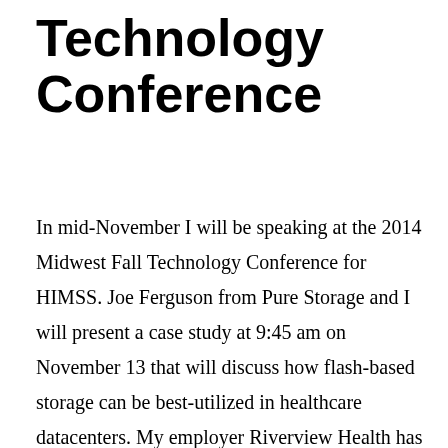Technology Conference
In mid-November I will be speaking at the 2014 Midwest Fall Technology Conference for HIMSS. Joe Ferguson from Pure Storage and I will present a case study at 9:45 am on November 13 that will discuss how flash-based storage can be best-utilized in healthcare datacenters. My employer Riverview Health has been a happy Pure